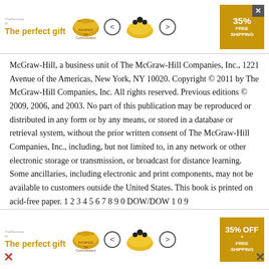[Figure (other): Advertisement banner at top: 'The perfect gift' with cookware imagery, navigation arrows, and 35% FREE SHIPPING badge with close button]
McGraw-Hill, a business unit of The McGraw-Hill Companies, Inc., 1221 Avenue of the Americas, New York, NY 10020. Copyright © 2011 by The McGraw-Hill Companies, Inc. All rights reserved. Previous editions © 2009, 2006, and 2003. No part of this publication may be reproduced or distributed in any form or by any means, or stored in a database or retrieval system, without the prior written consent of The McGraw-Hill Companies, Inc., including, but not limited to, in any network or other electronic storage or transmission, or broadcast for distance learning. Some ancillaries, including electronic and print components, may not be available to customers outside the United States. This book is printed on acid-free paper. 1 2 3 4 5 6 7 8 9 0 DOW/DOW 1 0 9
[Figure (other): Advertisement banner at bottom: 'The perfect gift' with cookware imagery, navigation arrows, and 35% OFF FREE SHIPPING badge]